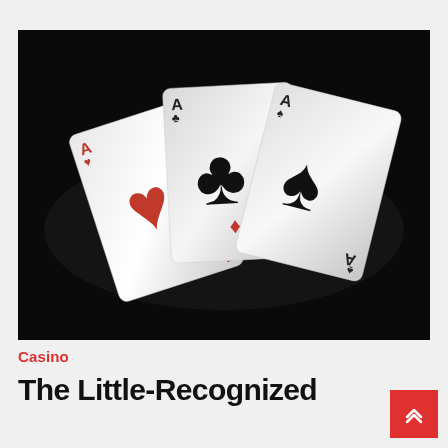[Figure (photo): Three playing cards fanned out on a dark black background — Ace of Hearts, Ace of Clubs, and Ace of Spades — rendered in a silver/metallic style with red and black suit symbols.]
Casino
The Little-Recognized